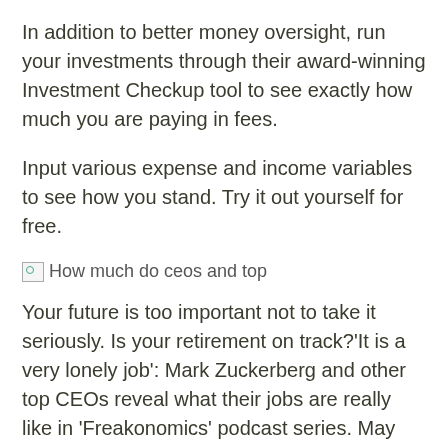In addition to better money oversight, run your investments through their award-winning Investment Checkup tool to see exactly how much you are paying in fees.
Input various expense and income variables to see how you stand. Try it out yourself for free.
[Figure (photo): Broken image placeholder with alt text: How much do ceos and top]
Your future is too important not to take it seriously. Is your retirement on track?'It is a very lonely job': Mark Zuckerberg and other top CEOs reveal what their jobs are really like in 'Freakonomics' podcast series. May 23,  · Top 10 highest paid CEOs in The typical CEO at the biggest U.S.
companies got an % raise last year, raking in $ million in salary, stock and other compensation last year. Walt